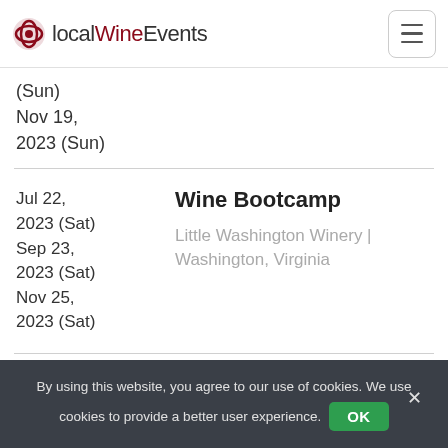localWineEvents
(Sun)
Nov 19,
2023 (Sun)
Jul 22,
2023 (Sat)
Sep 23,
2023 (Sat)
Nov 25,
2023 (Sat)
Wine Bootcamp
Little Washington Winery | Washington, Virginia
By using this website, you agree to our use of cookies. We use cookies to provide a better user experience.